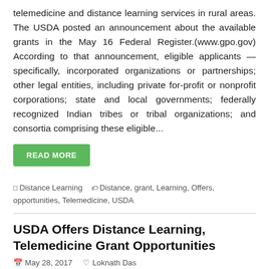telemedicine and distance learning services in rural areas. The USDA posted an announcement about the available grants in the May 16 Federal Register.(www.gpo.gov) According to that announcement, eligible applicants — specifically, incorporated organizations or partnerships; other legal entities, including private for-profit or nonprofit corporations; state and local governments; federally recognized Indian tribes or tribal organizations; and consortia comprising these eligible...
READ MORE
Distance Learning   Distance, grant, Learning, Offers, opportunities, Telemedicine, USDA
USDA Offers Distance Learning, Telemedicine Grant Opportunities
May 28, 2017   Loknath Das
[Figure (photo): Thumbnail image showing a magnifying glass on a wooden surface, partially visible]
May 25, 2017 02:15